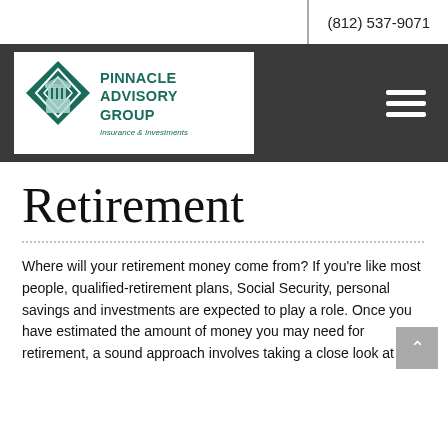(812) 537-9071
[Figure (logo): Pinnacle Advisory Group logo with teal diamond/pillar emblem and text 'PINNACLE ADVISORY GROUP Insurance & Investments']
Retirement
Where will your retirement money come from? If you're like most people, qualified-retirement plans, Social Security, personal savings and investments are expected to play a role. Once you have estimated the amount of money you may need for retirement, a sound approach involves taking a close look at